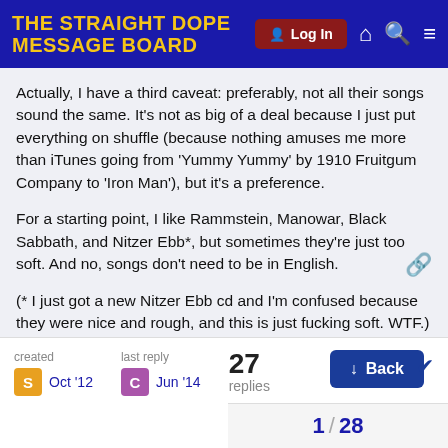THE STRAIGHT DOPE MESSAGE BOARD
Actually, I have a third caveat: preferably, not all their songs sound the same. It's not as big of a deal because I just put everything on shuffle (because nothing amuses me more than iTunes going from 'Yummy Yummy' by 1910 Fruitgum Company to 'Iron Man'), but it's a preference.
For a starting point, I like Rammstein, Manowar, Black Sabbath, and Nitzer Ebb*, but sometimes they're just too soft. And no, songs don't need to be in English.
(* I just got a new Nitzer Ebb cd and I'm confused because they were nice and rough, and this is just fucking soft. WTF.)
created Oct '12  last reply Jun '14  27 replies  Back  1 / 28